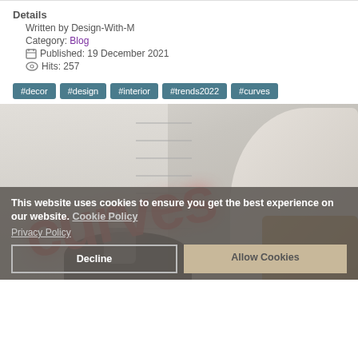Details
Written by Design-With-M
Category: Blog
Published: 19 December 2021
Hits: 257
#decor
#design
#interior
#trends2022
#curves
[Figure (photo): Interior design photo with curves text overlay, showing a room with a window, chair, and decorative items. Red 'curves' text overlaid diagonally.]
This website uses cookies to ensure you get the best experience on our website. Cookie Policy
Privacy Policy
Decline
Allow Cookies